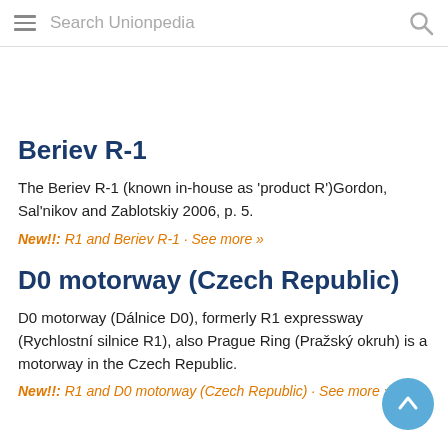Search Unionpedia
Beriev R-1
The Beriev R-1 (known in-house as 'product R')Gordon, Sal'nikov and Zablotskiy 2006, p. 5.
New!!: R1 and Beriev R-1 · See more »
D0 motorway (Czech Republic)
D0 motorway (Dálnice D0), formerly R1 expressway (Rychlostní silnice R1), also Prague Ring (Pražský okruh) is a motorway in the Czech Republic.
New!!: R1 and D0 motorway (Czech Republic) · See more »